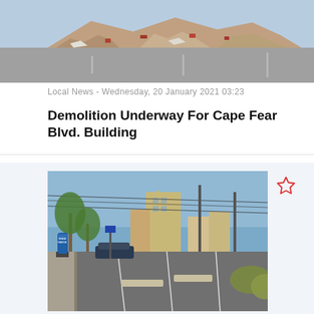[Figure (photo): Partial view of a demolished building site with rubble, broken bricks and debris on the ground under blue sky]
Local News - Wednesday, 20 January 2021 03:23
Demolition Underway For Cape Fear Blvd. Building
[Figure (photo): Street-level photo of a parking lot with a blue free parking meter/bag cover in the foreground, palm trees, power lines, and commercial buildings visible in the background under blue sky]